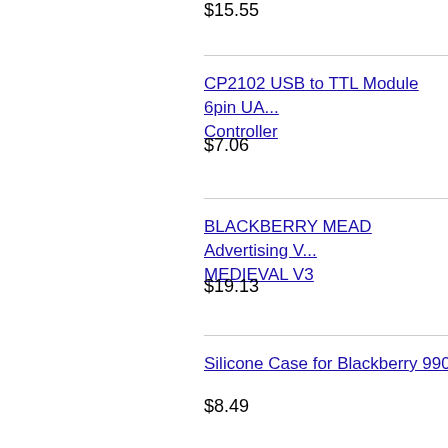$15.55
CP2102 USB to TTL Module 6pin UA... Controller
$7.06
BLACKBERRY MEAD Advertising V... MEDIEVAL V3
$19.13
Silicone Case for Blackberry 9900, 993...
$8.49